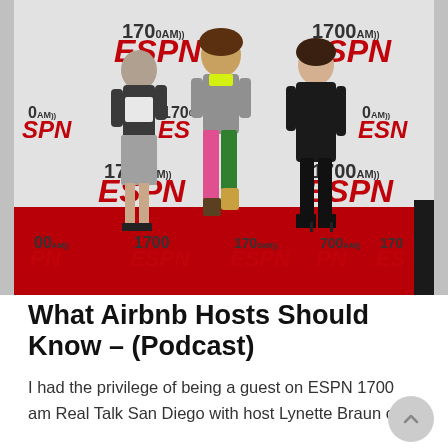[Figure (photo): Three women posing in front of a 1700 AM ESPN radio station step-and-repeat backdrop. They are standing on a red carpet. The woman on the left wears a white and dark top with a grey skirt and black heels. The woman in the middle wears a grey outfit with colorful leggings and tan boots. The woman on the right wears a black outfit with black high heels.]
What Airbnb Hosts Should Know – (Podcast)
I had the privilege of being a guest on ESPN 1700 am Real Talk San Diego with host Lynette Braun on